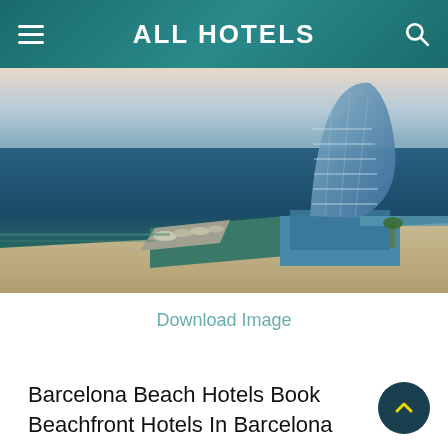ALL HOTELS
[Figure (photo): Aerial view of a beachfront hotel in Barcelona — a tall sail-shaped glass tower on a waterfront with a jetty, sandy beach, and blue sea]
Download Image
Barcelona Beach Hotels Book Beachfront Hotels In Barcelona